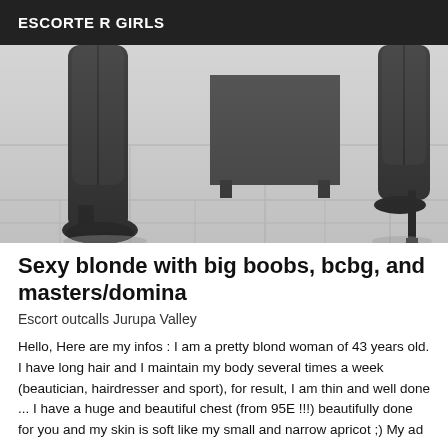ESCORTE R GIRLS
[Figure (photo): Black and white photo showing two pairs of women's legs wearing high-heeled boots, standing on a tiled floor with a dark piece of furniture in the background.]
Sexy blonde with big boobs, bcbg, and masters/domina
Escort outcalls Jurupa Valley
Hello, Here are my infos : I am a pretty blond woman of 43 years old. I have long hair and I maintain my body several times a week (beautician, hairdresser and sport), for result, I am thin and well done ... I have a huge and beautiful chest (from 95E !!!) beautifully done for you and my skin is soft like my small and narrow apricot ;) My ad